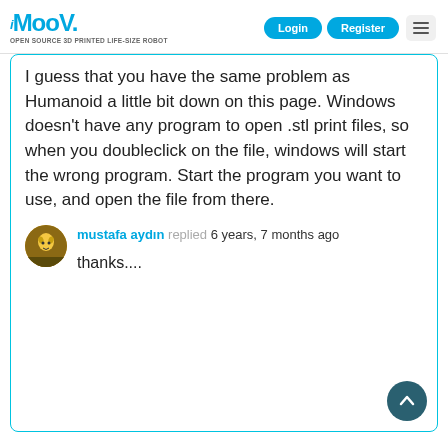iMoov - OPEN SOURCE 3D PRINTED LIFE-SIZE ROBOT | Login | Register
I guess that you have the same problem as Humanoid a little bit down on this page. Windows doesn't have any program to open .stl print files, so when you doubleclick on the file, windows will start the wrong program. Start the program you want to use, and open the file from there.
mustafa aydın replied 6 years, 7 months ago

thanks....